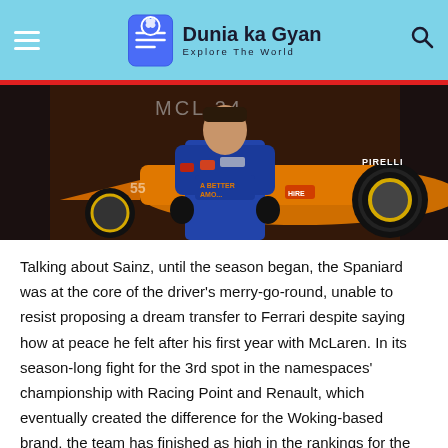Dunia ka Gyan — Explore The World
[Figure (photo): Carlos Sainz in McLaren blue racing suit posing in front of the MCL34 Formula 1 car at a launch event. The orange McLaren F1 car with Pirelli tyres is visible in the background.]
Talking about Sainz, until the season began, the Spaniard was at the core of the driver's merry-go-round, unable to resist proposing a dream transfer to Ferrari despite saying how at peace he felt after his first year with McLaren. In its season-long fight for the 3rd spot in the namespaces' championship with Racing Point and Renault, which eventually created the difference for the Woking-based brand, the team has finished as high in the rankings for the first time since 2012. His clear highlight